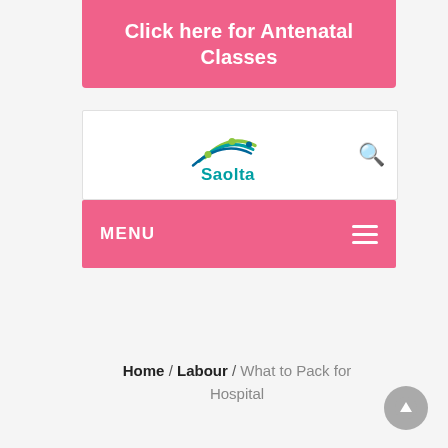Click here for Antenatal Classes
[Figure (logo): Saolta healthcare group logo with stylized swoosh figures in teal/green above the word Saolta in teal, with a search icon to the right]
MENU
Home / Labour / What to Pack for Hospital